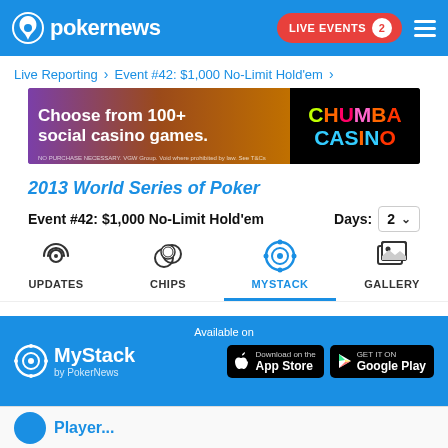pokernews | LIVE EVENTS 2
Live Reporting > Event #42: $1,000 No-Limit Hold'em >
[Figure (infographic): Chumba Casino advertisement: 'Choose from 100+ social casino games.' with colorful slot game imagery and Chumba Casino logo on black background. Fine print: NO PURCHASE NECESSARY. VGW Group. Void where prohibited by law. See T&Cs]
2013 World Series of Poker
Event #42: $1,000 No-Limit Hold'em    Days: 2
[Figure (infographic): Navigation tabs: UPDATES (radio wave icon), CHIPS (poker chips icon), MYSTACK (circular icon, active/highlighted in blue), GALLERY (image icon)]
[Figure (infographic): MyStack by PokerNews section with logo, 'Available on' text, App Store and Google Play download buttons]
[Figure (photo): Bottom strip showing a player avatar and player name beginning to appear]